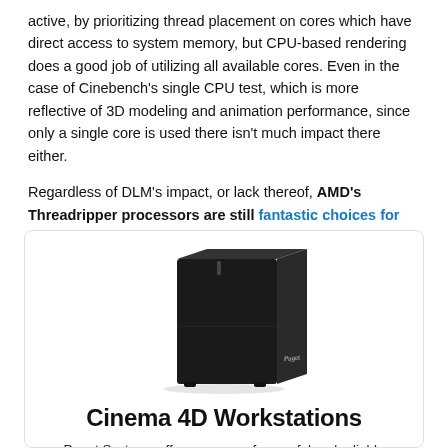active, by prioritizing thread placement on cores which have direct access to system memory, but CPU-based rendering does a good job of utilizing all available cores. Even in the case of Cinebench's single CPU test, which is more reflective of 3D modeling and animation performance, since only a single core is used there isn't much impact there either.
Regardless of DLM's impact, or lack thereof, AMD's Threadripper processors are still fantastic choices for CPU rendering!
[Figure (photo): A black Puget Systems desktop workstation tower computer with a sleek design and logo on the side panel.]
Cinema 4D Workstations
Puget Systems offers a range of powerful and reliable systems that are tailor-made for your unique workflow.